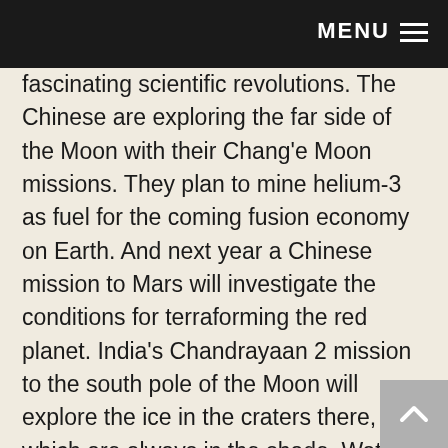MENU
fascinating scientific revolutions. The Chinese are exploring the far side of the Moon with their Chang'e Moon missions. They plan to mine helium-3 as fuel for the coming fusion economy on Earth. And next year a Chinese mission to Mars will investigate the conditions for terraforming the red planet. India's Chandrayaan 2 mission to the south pole of the Moon will explore the ice in the craters there, which are always in the shade. Water is one of the essential prerequisites for life on the Moon. The European Space Agency is working on concrete plans for international cooperation on a permanent Moon village!